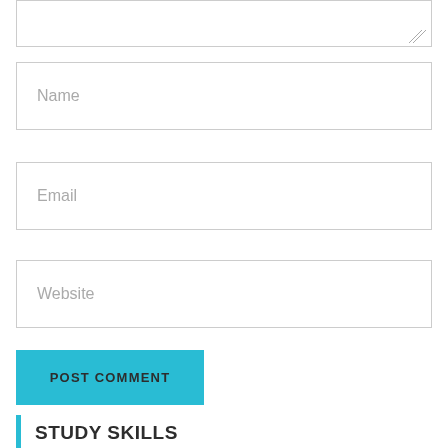[Figure (screenshot): Textarea input field (comment box) partially visible at top of page, with resize handle in bottom-right corner]
Name
Email
Website
POST COMMENT
STUDY SKILLS